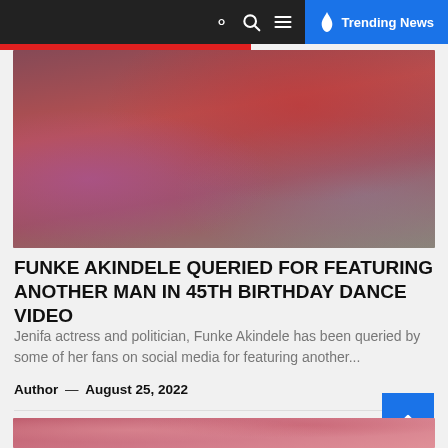🔍 ☰ 🔥 Trending News
[Figure (photo): A blurry indoor photo showing red and purple decorations, possibly a party or event setting.]
FUNKE AKINDELE QUERIED FOR FEATURING ANOTHER MAN IN 45TH BIRTHDAY DANCE VIDEO
Jenifa actress and politician, Funke Akindele has been queried by some of her fans on social media for featuring another...
Author — August 25, 2022
[Figure (photo): Partial photo of a person in a pink outfit, cropped at the bottom of the page.]